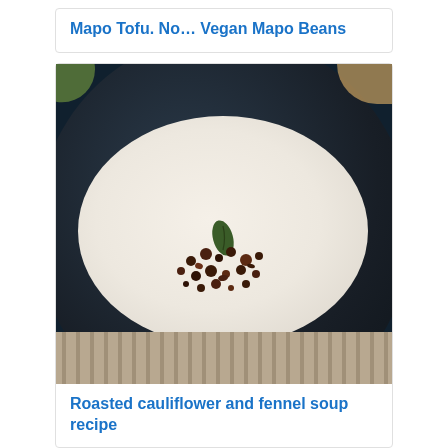Mapo Tofu. No… Vegan Mapo Beans
[Figure (photo): A dark ceramic bowl containing a creamy white soup (roasted cauliflower and fennel soup) topped with dark brown crumbled garnish and a green herb leaf, placed on a striped mat surface.]
Roasted cauliflower and fennel soup recipe